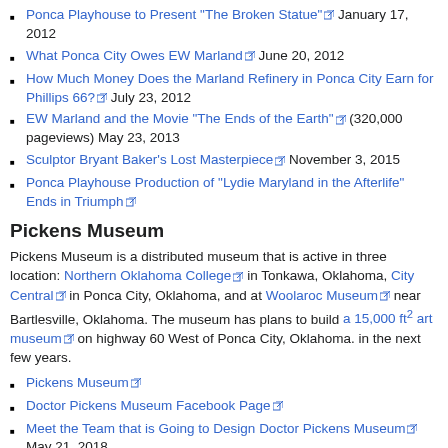Ponca Playhouse to Present "The Broken Statue" January 17, 2012
What Ponca City Owes EW Marland June 20, 2012
How Much Money Does the Marland Refinery in Ponca City Earn for Phillips 66? July 23, 2012
EW Marland and the Movie "The Ends of the Earth" (320,000 pageviews) May 23, 2013
Sculptor Bryant Baker's Lost Masterpiece November 3, 2015
Ponca Playhouse Production of "Lydie Maryland in the Afterlife" Ends in Triumph
Pickens Museum
Pickens Museum is a distributed museum that is active in three location: Northern Oklahoma College in Tonkawa, Oklahoma, City Central in Ponca City, Oklahoma, and at Woolaroc Museum near Bartlesville, Oklahoma. The museum has plans to build a 15,000 ft2 art museum on highway 60 West of Ponca City, Oklahoma. in the next few years.
Pickens Museum
Doctor Pickens Museum Facebook Page
Meet the Team that is Going to Design Doctor Pickens Museum May 21, 2018
World's Largest Naja on Display Outside Ponca City by Stephen Schwark August 29, 2018
A 1949 Hudson Limousine August 2018